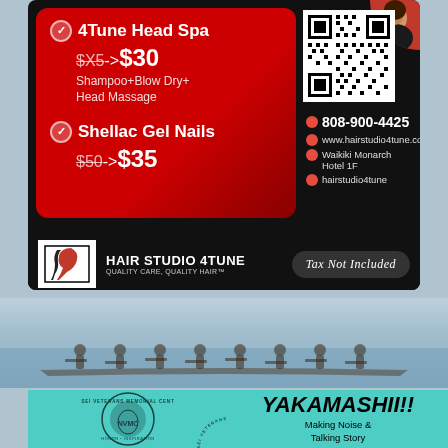[Figure (infographic): Hair Studio 4Tune advertisement on black background with red promo box showing Head Spa ($X5->$30) and Shellac Gel Nails ($50->$35), QR code, phone number 808-900-4425, website, location at Waikiki Monarch Hotel 1F, Instagram hairstudio4tune, logo, and Tax Not Included badge]
[Figure (photo): Outdoor photo of people rowing in a canoe/boat on water, faded/washed out appearance]
[Figure (logo): Nisei Veterans Memorial Center circular logo on teal/turquoise background]
[Figure (infographic): Yakamashii!! advertisement on teal background with bold italic title and subtitle 'Making Noise & Talking Story']